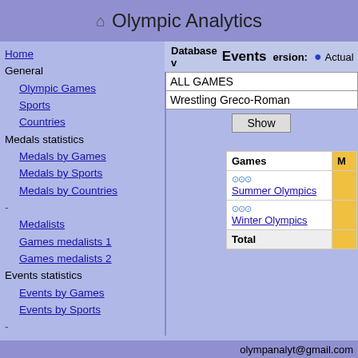Olympic Analytics
Home
General
Olympic Games
Sports
Countries
Medals statistics
Medals by Games
Medals by Sports
Medals by Countries
-
Medalists
Games medalists 1
Games medalists 2
Events statistics
Events by Games
Events by Sports
-
> Events
Games events
Other
IOC vs Actual data
Latest changes
Database version: Actual | IOC
Events
ALL GAMES
Wrestling Greco-Roman
| Games | M |
| --- | --- |
| Summer Olympics |  |
| Winter Olympics |  |
| Total |  |
olympanalyt@gmail.com